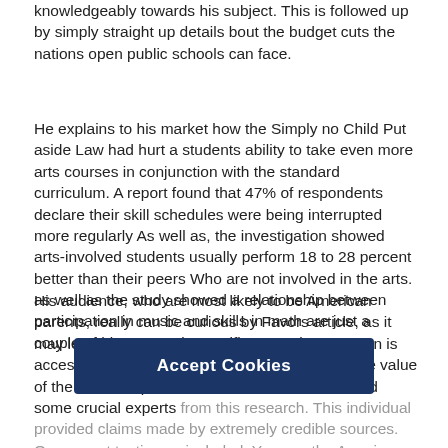knowledgeably towards his subject. This is followed up by simply straight up details bout the budget cuts the nations open public schools can face.
He explains to his market how the Simply no Child Put aside Law had hurt a students ability to take even more arts courses in conjunction with the standard curriculum. A report found that 47% of respondents declare their skill schedules were being interrupted more regularly As well as, the investigation showed arts-involved students usually perform 18 to 28 percent better than their peers Who are not involved in the arts. as well as the study showed a relationship between participation in music and skills in math are just a couple of his extremely specific examples.
His audience, who are most likely to be American parents, really can be curious by Favors article, as it may lead them to make sure that artistry education is accessible to their very own children. To boost the value of the statistics provided, Choose also interviewed some crucial experts from this research. This individual provided claims made by extremely credible sources. One expert testimony included. You see the American banner which is considered art. You see any item of artwork clai... so, solutions thats Picasso because youv... ching the arts ND being linked to art. This makes it clear the absence of
Accept Cookies